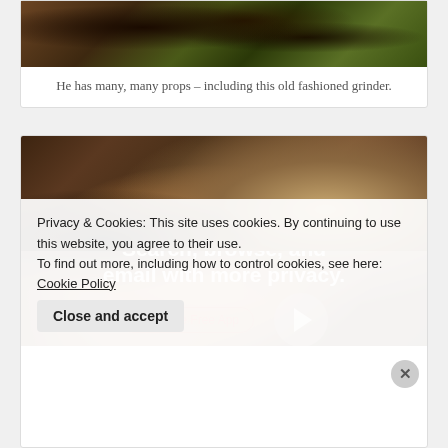[Figure (photo): Partial photo of an old fashioned grinder prop, showing dark wooden/metallic elements with green and earthy tones]
He has many, many props – including this old fashioned grinder.
[Figure (photo): Photo of a Balinese woman with a yellow flower in her dark hair, smiling, wearing traditional jewelry, with a decorative Balinese mask/statue visible to her right, set against a wooden door background]
Privacy & Cookies: This site uses cookies. By continuing to use this website, you agree to their use.
To find out more, including how to control cookies, see here: Cookie Policy